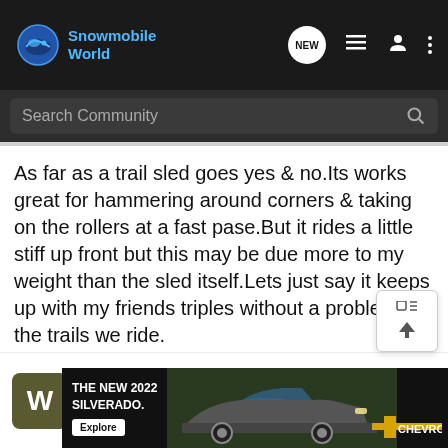Snowmobile World
As far as a trail sled goes yes & no.Its works great for hammering around corners & taking on the rollers at a fast pase.But it rides a little stiff up front but this may be due more to my weight than the sled itself.Lets just say it keeps up with my friends triples without a problem on the trails we ride.
Weres the jumps ?
WickedWeasel Registered J...
[Figure (screenshot): THE NEW 2022 SILVERADO. Chevrolet advertisement banner with truck and Explore button.]